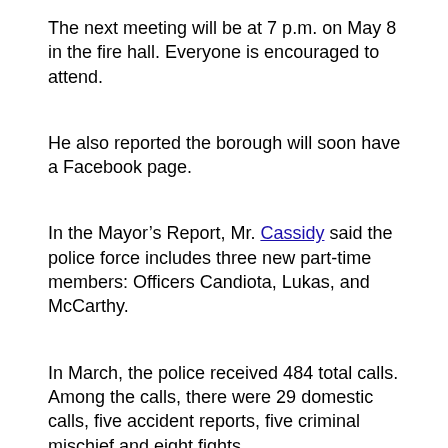The next meeting will be at 7 p.m. on May 8 in the fire hall. Everyone is encouraged to attend.
He also reported the borough will soon have a Facebook page.
In the Mayor's Report, Mr. Cassidy said the police force includes three new part-time members: Officers Candiota, Lukas, and McCarthy.
In March, the police received 484 total calls. Among the calls, there were 29 domestic calls, five accident reports, five criminal mischief and eight fights.
Drug arrests took place on William St., Walter Ave., and Brownsville Rd. There were DUI arrests on Sherman St., Brownsville Rd., Rustic Ave. and Ormsby Ave.